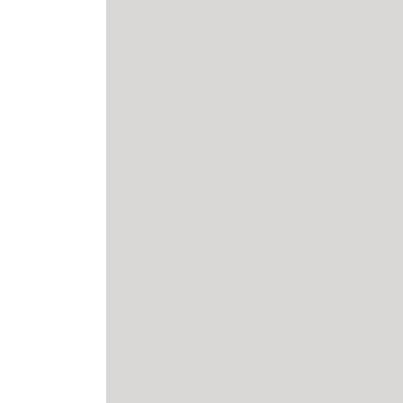price is just $45 and you can pay once the article/link has been published. This is a one-time fee, so there are no extra charges.
Also: Once the article has been published, and your backlink has been added, it will be shared out to almost 3 million social media followers (if it's educationally based). This means you aren't just getting the high valued backlink, you're also getting the potential of more traffic to your site.
If you're interested, please reply to this email, including the word 'interested' in the Subject Field.
Kind Regards,
Erica
[Figure (illustration): Five yellow star rating icons at the bottom right]